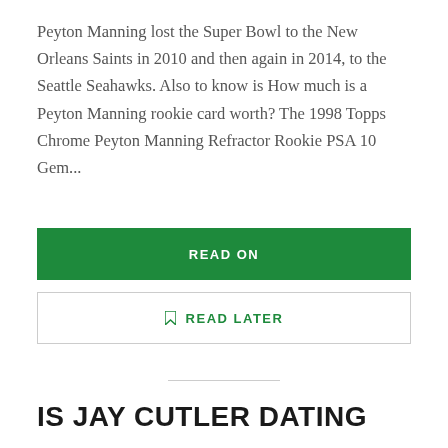Peyton Manning lost the Super Bowl to the New Orleans Saints in 2010 and then again in 2014, to the Seattle Seahawks. Also to know is How much is a Peyton Manning rookie card worth? The 1998 Topps Chrome Peyton Manning Refractor Rookie PSA 10 Gem...
READ ON
READ LATER
IS JAY CUTLER DATING